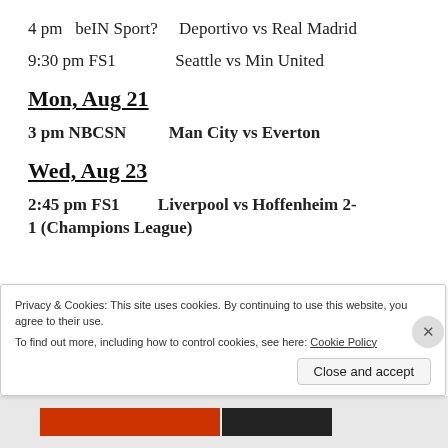4 pm  beIN Sport?    Deportivo vs Real Madrid
9:30 pm FS1              Seattle vs Min United
Mon, Aug 21
3 pm NBCSN          Man City vs Everton
Wed, Aug 23
2:45 pm FS1        Liverpool vs Hoffenheim 2-1 (Champions League)
Privacy & Cookies: This site uses cookies. By continuing to use this website, you agree to their use.
To find out more, including how to control cookies, see here: Cookie Policy
Close and accept